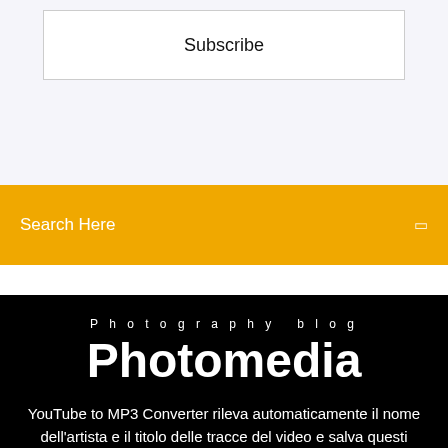[Figure (screenshot): Subscribe button inside a bordered white box on a light gray background]
Subscribe
[Figure (screenshot): Yellow/amber search bar with text 'Search Here' and a search icon on the right]
Search Here
Photography blog
Photomedia
YouTube to MP3 Converter rileva automaticamente il nome dell'artista e il titolo delle tracce del video e salva questi